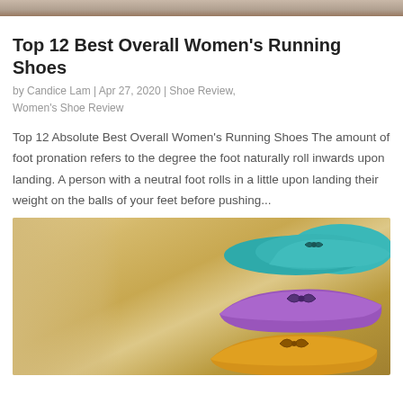[Figure (photo): Top cropped photo — partial image of shoes or similar content at very top of page]
Top 12 Best Overall Women’s Running Shoes
by Candice Lam | Apr 27, 2020 | Shoe Review, Women's Shoe Review
Top 12 Absolute Best Overall Women’s Running Shoes The amount of foot pronation refers to the degree the foot naturally roll inwards upon landing. A person with a neutral foot rolls in a little upon landing their weight on the balls of your feet before pushing…
[Figure (photo): Photo of three stacked colorful ballet flat shoes: teal on top, purple in middle, yellow/mustard at bottom, on warm beige/tan background]